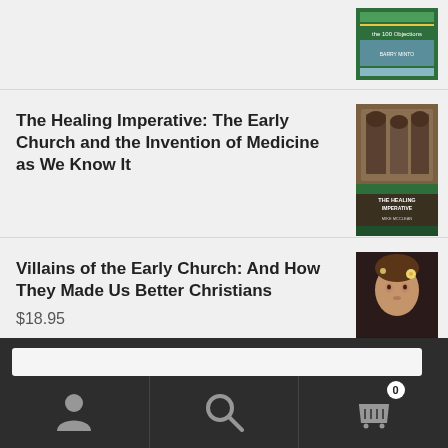[Figure (illustration): Book cover thumbnail for a book about '100 Objections' in top right corner]
The Healing Imperative: The Early Church and the Invention of Medicine as We Know It
[Figure (illustration): Book cover thumbnail for 'The Healing Imperative']
Villains of the Early Church: And How They Made Us Better Christians
[Figure (illustration): Book cover thumbnail for 'Villains of the Early Church']
$18.95